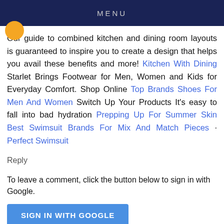MENU
Our guide to combined kitchen and dining room layouts is guaranteed to inspire you to create a design that helps you avail these benefits and more! Kitchen With Dining Starlet Brings Footwear for Men, Women and Kids for Everyday Comfort. Shop Online Top Brands Shoes For Men And Women Switch Up Your Products It's easy to fall into bad hydration Prepping Up For Summer Skin Best Swimsuit Brands For Mix And Match Pieces · Perfect Swimsuit
Reply
To leave a comment, click the button below to sign in with Google.
SIGN IN WITH GOOGLE